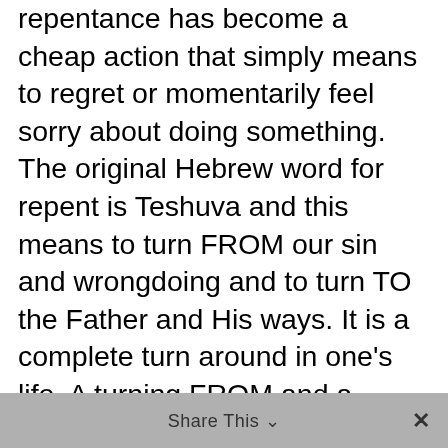…repentance has become a cheap action that simply means to regret or momentarily feel sorry about doing something. The original Hebrew word for repent is Teshuva and this means to turn FROM our sin and wrongdoing and to turn TO the Father and His ways. It is a complete turn around in one's life. A turning FROM and a turning TO. That is what repentance is to the Father and His view is all that matters in this.
Share This ∨  ✕